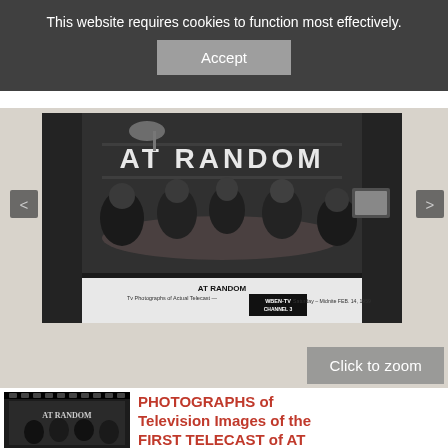This website requires cookies to function most effectively.
Accept
[Figure (photo): Black and white photograph of a TV studio scene showing people seated around a table with 'AT RANDOM' text visible in background. Caption reads: AT RANDOM, Tv Photographs of Actual Telecast, WBEN-TV CHANNEL 3, Saturday - Midnite FEB. 14, 1959]
Click to zoom
[Figure (photo): Small thumbnail of the AT RANDOM television photograph]
PHOTOGRAPHS of Television Images of the FIRST TELECAST of AT